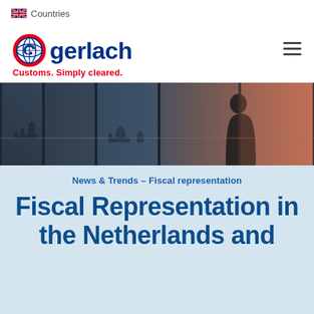Countries
[Figure (logo): Gerlach logo with globe icon, company name 'gerlach' in dark blue, tagline 'Customs. Simply cleared.' in red]
[Figure (photo): Hero banner photo showing silhouette of a person standing by large windows with a cityscape and orange/blue sky in the background]
News & Trends – Fiscal representation
Fiscal Representation in the Netherlands and